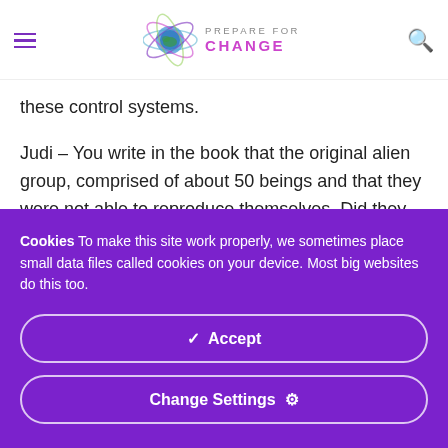PREPARE FOR CHANGE
these control systems.
Judi – You write in the book that the original alien group, comprised of about 50 beings and that they were not able to reproduce themselves.  Did they interbreed with humans?
Cookies To make this site work properly, we sometimes place small data files called cookies on your device. Most big websites do this too.
✓  Accept
Change Settings  ⚙